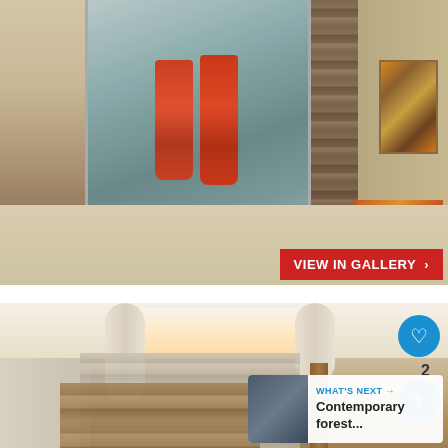[Figure (photo): Interior bathroom photo showing reclaimed wood walls, large mirror panels, orange towels hanging, colorful rug on floor, artwork on right wall]
VIEW IN GALLERY ›
[Figure (photo): Interior hallway/corridor photo showing stone and reclaimed wood walls, rounded white ceiling beams, skylight above, wooden post in foreground]
2
WHAT'S NEXT → Contemporary forest...